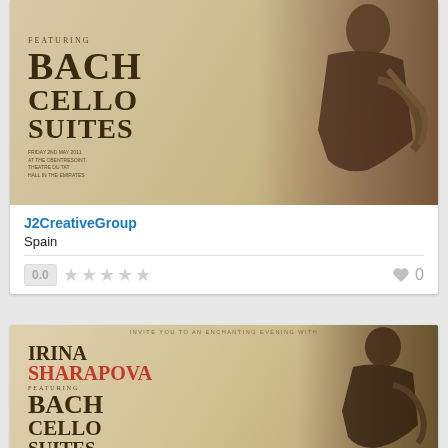[Figure (photo): Concert poster for Bach Cello Suites featuring a woman playing cello, with large text BACH CELLO SUITES and event details]
J2CreativeGroup
Spain
0.0
0
[Figure (photo): Concert poster for Irina Sharapova performing Bach Cello Suites, showing woman playing cello with text IRINA SHARAPOVA BACH CELLO SUITES]